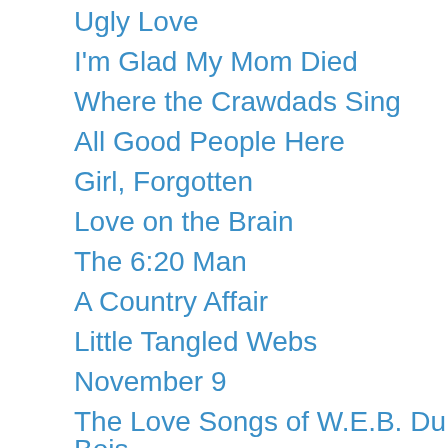Ugly Love
I'm Glad My Mom Died
Where the Crawdads Sing
All Good People Here
Girl, Forgotten
Love on the Brain
The 6:20 Man
A Country Affair
Little Tangled Webs
November 9
The Love Songs of W.E.B. Du Bois
The Ninth Month
Fire and Blood
Stranger In Paradise